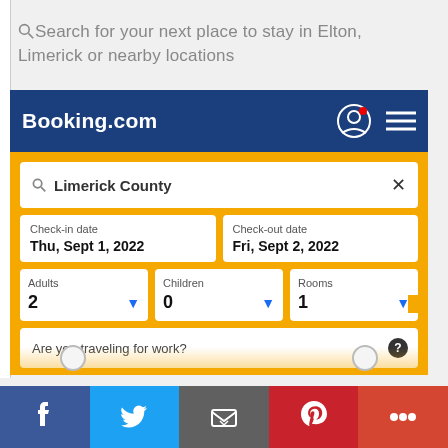Search for your next place to stay in Elton, Limerick or nearby locations
[Figure (screenshot): Booking.com mobile web interface showing a search form with location 'Limerick County', check-in date Thu Sept 1 2022, check-out date Fri Sept 2 2022, 2 adults, 0 children, 1 room, and a 'Are you traveling for work?' field]
[Figure (infographic): Social sharing bar at the bottom with Facebook, Twitter, Email, Pinterest, and More buttons]